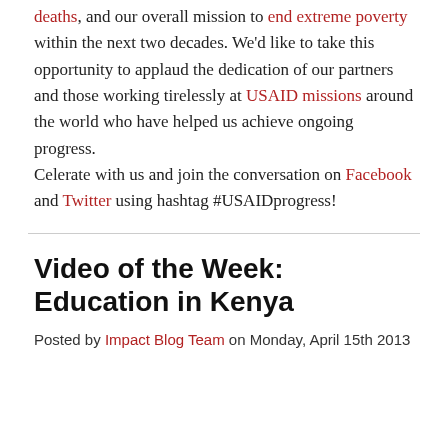deaths, and our overall mission to end extreme poverty within the next two decades. We'd like to take this opportunity to applaud the dedication of our partners and those working tirelessly at USAID missions around the world who have helped us achieve ongoing progress.

Celerate with us and join the conversation on Facebook and Twitter using hashtag #USAIDprogress!
Video of the Week: Education in Kenya
Posted by Impact Blog Team on Monday, April 15th 2013